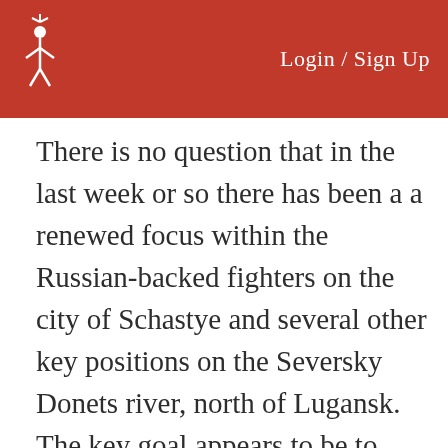Login / Sign Up
There is no question that in the last week or so there has been a a renewed focus within the Russian-backed fighters on the city of Schastye and several other key positions on the Seversky Donets river, north of Lugansk. The key goal appears to be to secure key river crossings, while also potentially paving the way for a push north in several locations at one time. A successful push at several of these locations would not